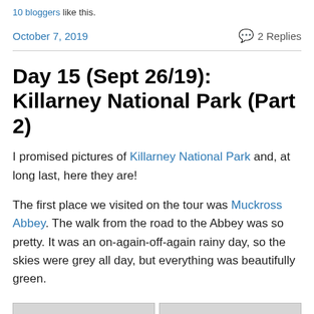10 bloggers like this.
October 7, 2019
2 Replies
Day 15 (Sept 26/19): Killarney National Park (Part 2)
I promised pictures of Killarney National Park and, at long last, here they are!
The first place we visited on the tour was Muckross Abbey. The walk from the road to the Abbey was so pretty. It was an on-again-off-again rainy day, so the skies were grey all day, but everything was beautifully green.
[Figure (photo): Two side-by-side photos, partially visible at the bottom of the page, showing grey/overcast outdoor scenes.]